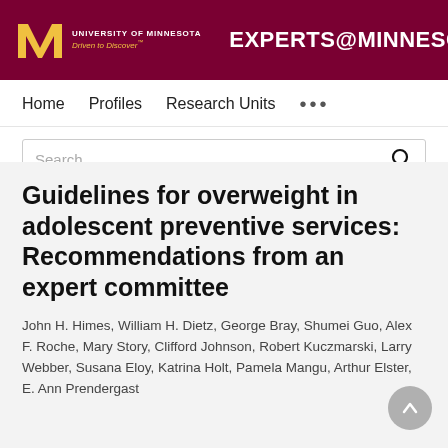UNIVERSITY OF MINNESOTA Driven to Discover® | EXPERTS@MINNESOTA
Home   Profiles   Research Units   •••
Search
Guidelines for overweight in adolescent preventive services: Recommendations from an expert committee
John H. Himes, William H. Dietz, George Bray, Shumei Guo, Alex F. Roche, Mary Story, Clifford Johnson, Robert Kuczmarski, Larry Webber, Susana Eloy, Katrina Holt, Pamela Mangu, Arthur Elster, E. Ann Prendergast